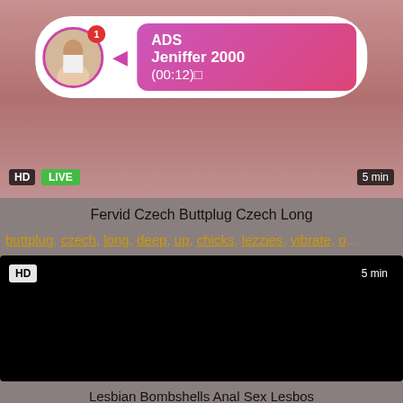[Figure (screenshot): Video thumbnail with pink/flesh tone background and an ad overlay popup showing a profile photo, ADS label, name Jeniffer 2000, timestamp (00:12), with HD and LIVE badges]
Fervid Czech Buttplug Czech Long
buttplug, czech, long, deep, up, chicks, lezzies, vibrate, o...
[Figure (screenshot): Black video thumbnail with HD badge and 5 min duration badge]
Lesbian Bombshells Anal Sex Lesbos